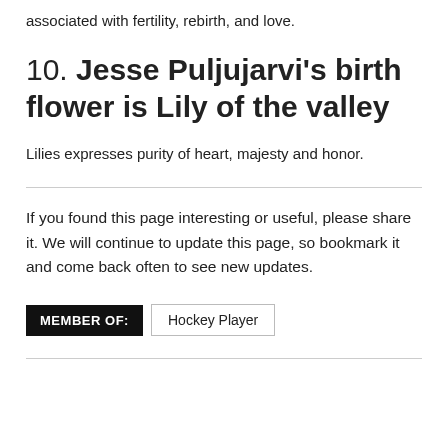associated with fertility, rebirth, and love.
10. Jesse Puljujarvi's birth flower is Lily of the valley
Lilies expresses purity of heart, majesty and honor.
If you found this page interesting or useful, please share it. We will continue to update this page, so bookmark it and come back often to see new updates.
MEMBER OF: Hockey Player